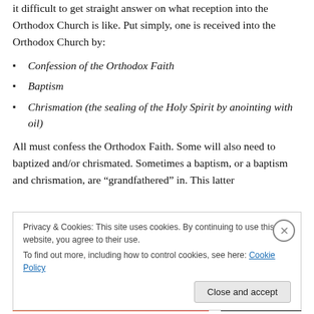it difficult to get straight answer on what reception into the Orthodox Church is like. Put simply, one is received into the Orthodox Church by:
Confession of the Orthodox Faith
Baptism
Chrismation (the sealing of the Holy Spirit by anointing with oil)
All must confess the Orthodox Faith. Some will also need to baptized and/or chrismated. Sometimes a baptism, or a baptism and chrismation, are “grandfathered” in. This latter
Privacy & Cookies: This site uses cookies. By continuing to use this website, you agree to their use.
To find out more, including how to control cookies, see here: Cookie Policy